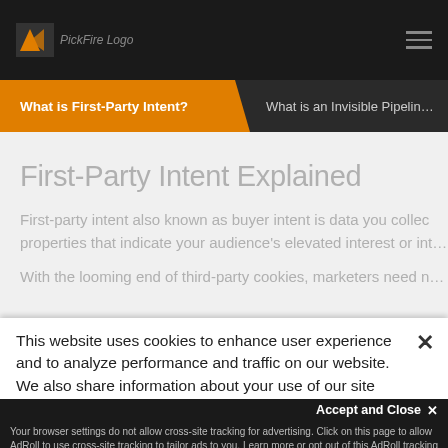PickFire Logo
What is First-Party Intent?
What is an Invisible Pipeline
First-Party Intent Explained
First-party intent also known as buyer intent is data you collec properties that indicate your audience's elevated interest or int
With the looming end of third-party cookies, marketers need n
This website uses cookies to enhance user experience and to analyze performance and traffic on our website. We also share information about your use of our site with our social me
Your browser settings do not allow cross-site tracking for advertising. Click on this page to allow AdRoll to use cross-site tracking to tailor ads to you. Learn more or opt out of this AdRoll tracking by clicking here. This message only appears once.